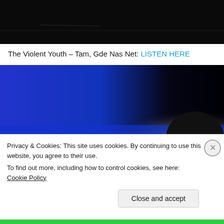[Figure (photo): Dark/black background photo, appears to be a concert or night scene]
The Violent Youth – Tam, Gde Nas Net: LISTEN HERE
[Figure (photo): Abstract blue and black gradient image, possibly an album cover or artistic photo with a glowing arc shape]
Privacy & Cookies: This site uses cookies. By continuing to use this website, you agree to their use.
To find out more, including how to control cookies, see here: Cookie Policy
Close and accept